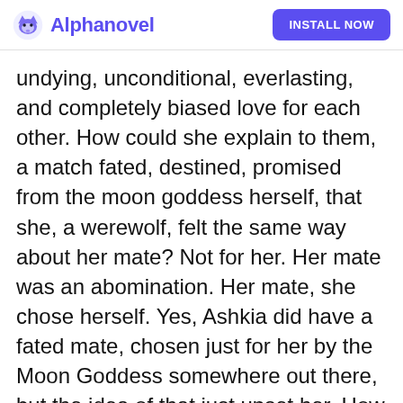Alphanovel | INSTALL NOW
undying, unconditional, everlasting, and completely biased love for each other. How could she explain to them, a match fated, destined, promised from the moon goddess herself, that she, a werewolf, felt the same way about her mate? Not for her. Her mate was an abomination. Her mate, she chose herself. Yes, Ashkia did have a fated mate, chosen just for her by the Moon Goddess somewhere out there, but the idea of that just upset her. How dare some goddess, who never even spoke to Ashkia, who Ashkia had never even seen, never even talked to, never even prayed to, get to decide who she spends the entirety of her life with. Ashkia was a strong-willed werewoman. She would be darned if she let